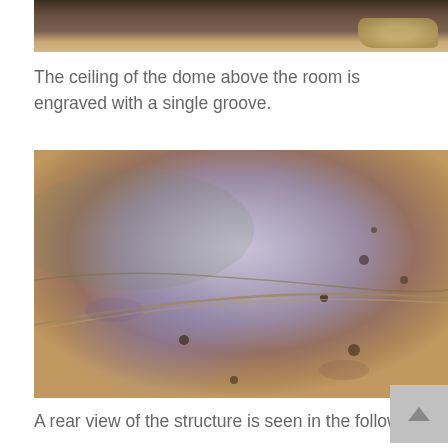[Figure (photo): Top portion of a photograph showing a rocky, dusty cave or tomb ceiling/floor area with sandy brown tones]
The ceiling of the dome above the room is engraved with a single groove.
[Figure (photo): Close-up photograph of the interior ceiling of a dome structure showing a curved groove or engraving line running diagonally across the surface, with bluish-white and brownish stone tones]
A rear view of the structure is seen in the following